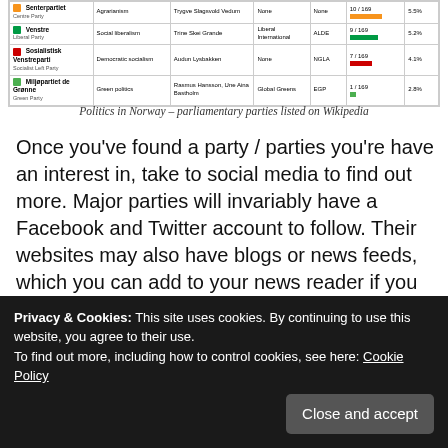[Figure (table-as-image): Partial table of Norwegian parliamentary parties showing Sp (Centre Party), V (Liberal Party/Venstre), SV (Socialist Left Party), MdG (Green Party) with columns for ideology, party leader, international affiliation, European affiliation, seats, and vote share.]
Politics in Norway – parliamentary parties listed on Wikipedia
Once you've found a party / parties you're have an interest in, take to social media to find out more. Major parties will invariably have a Facebook and Twitter account to follow. Their websites may also have blogs or news feeds, which you can add to your news reader if you have one (Feedly is quite good).
Privacy & Cookies: This site uses cookies. By continuing to use this website, you agree to their use.
To find out more, including how to control cookies, see here: Cookie Policy
language immersion in your day-to-day, which